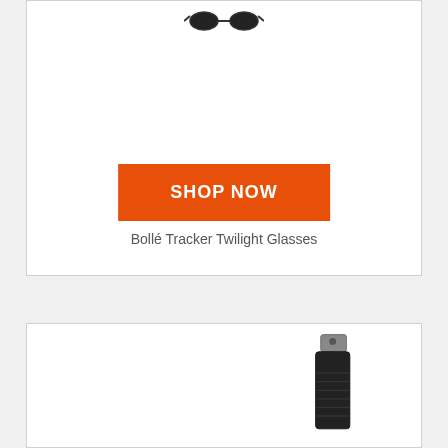[Figure (photo): Partial view of Bollé Tracker Twilight Glasses product image at top of card]
SHOP NOW
Bollé Tracker Twilight Glasses
[Figure (photo): Black cylindrical flashlight or torch product image, partially visible, showing metal top and body]